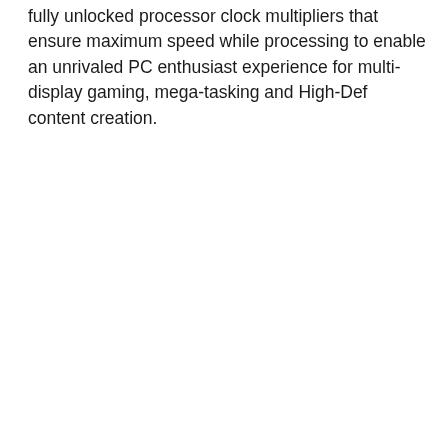fully unlocked processor clock multipliers that ensure maximum speed while processing to enable an unrivaled PC enthusiast experience for multi-display gaming, mega-tasking and High-Def content creation.